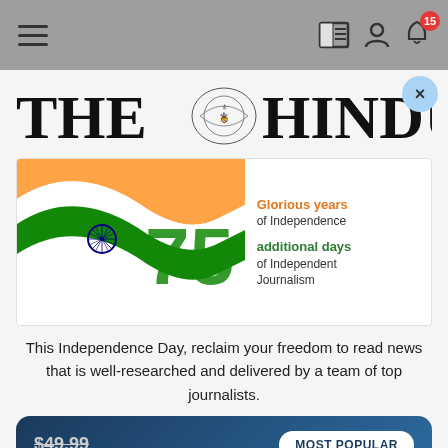Navigation bar with hamburger menu, reader icon, user icon, and notification bell with badge 15
[Figure (logo): The Hindu newspaper masthead logo with large serif text THE HINDU and central emblem/crest illustration]
[Figure (illustration): Independence Day promotional banner with Indian flag ribbon (saffron, white, green with Ashoka chakra) and number 75, with text: Glorious years of Independence, additional days of Independent Journalism]
This Independence Day, reclaim your freedom to read news that is well-researched and delivered by a team of top journalists.
$49.99  MOST POPULAR